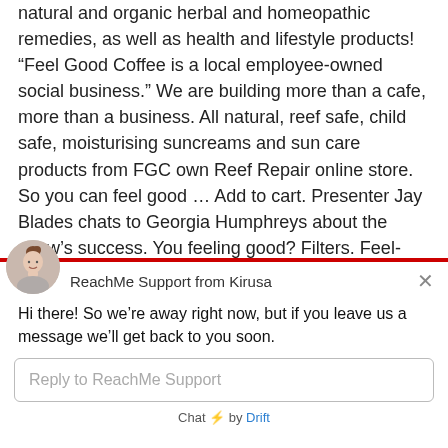natural and organic herbal and homeopathic remedies, as well as health and lifestyle products! “Feel Good Coffee is a local employee-owned social business.” We are building more than a cafe, more than a business. All natural, reef safe, child safe, moisturising suncreams and sun care products from FGC own Reef Repair online store. So you can feel good … Add to cart. Presenter Jay Blades chats to Georgia Humphreys about the show’s success. You feeling good? Filters. Feel-Good Gadgets Shop now Feel-Good products that will bring you relaxation anywhere, anytime. Clothing shouldn’t be one.
[Figure (other): Chat widget from ReachMe Support by Kirusa (Drift), showing avatar of a woman, header with close button, message 'Hi there! So we’re away right now, but if you leave us a message we’ll get back to you soon.', reply input box, and 'Chat by Drift' footer.]